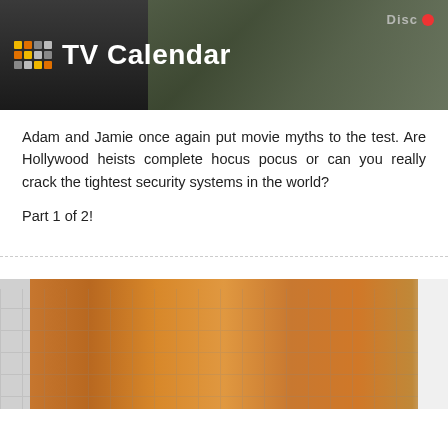TV Calendar
Adam and Jamie once again put movie myths to the test. Are Hollywood heists complete hocus pocus or can you really crack the tightest security systems in the world?
Part 1 of 2!
1843 have watched this episode
s04e12 / Steam Cannon   20th Jul '06 -
[Figure (photo): Thumbnail image showing a reddish-brown food or object with a grid fence background, flanked by gray/white borders on left and right]